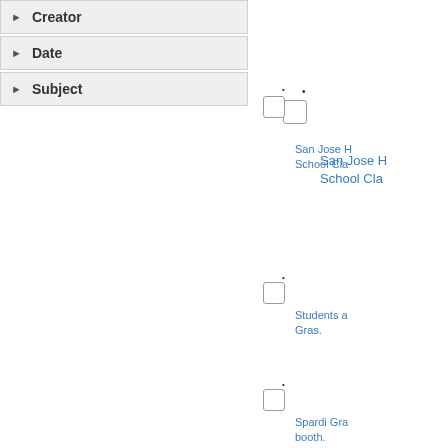Creator
Date
Subject
San Jose H School Cla
Students a Gras.
Spardi Gra booth.